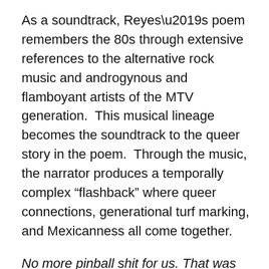As a soundtrack, Reyes’s poem remembers the 80s through extensive references to the alternative rock music and androgynous and flamboyant artists of the MTV generation.  This musical lineage becomes the soundtrack to the queer story in the poem.  Through the music, the narrator produces a temporally complex “flashback” where queer connections, generational turf marking, and Mexicanness all come together.
No more pinball shit for us. That was 1970-something mierda
We were the generation of Atari—the beginning of digital games (22)
[. . .]
This was Siouxsie and the Banshees’ era with deep black